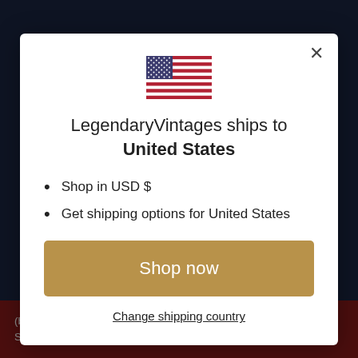[Figure (illustration): US flag icon displayed at top center of modal dialog]
LegendaryVintages ships to United States
Shop in USD $
Get shipping options for United States
Shop now
Change shipping country
(b... ...signed to provide the Buyer access to Items as the Sellers present them. The Buyer is aware